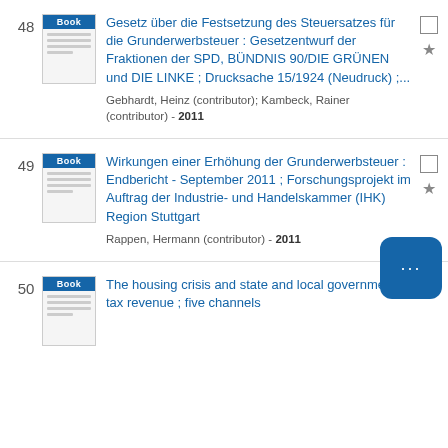48 — Gesetz über die Festsetzung des Steuersatzes für die Grunderwerbsteuer : Gesetzentwurf der Fraktionen der SPD, BÜNDNIS 90/DIE GRÜNEN und DIE LINKE ; Drucksache 15/1924 (Neudruck) ;... — Gebhardt, Heinz (contributor); Kambeck, Rainer (contributor) - 2011
49 — Wirkungen einer Erhöhung der Grunderwerbsteuer : Endbericht - September 2011 ; Forschungsprojekt im Auftrag der Industrie- und Handelskammer (IHK) Region Stuttgart — Rappen, Hermann (contributor) - 2011
50 — The housing crisis and state and local government tax revenue ; five channels